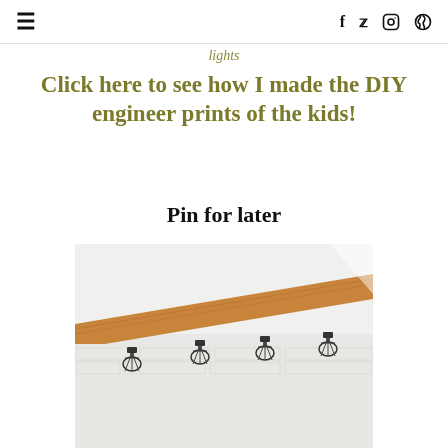≡  f  𝕥  ◎  𝗣
lights
Click here to see how I made the DIY engineer prints of the kids!
Pin for later
[Figure (photo): Photo showing ceiling-mounted industrial cage lights beneath a wooden beam against a white-painted brick wall]